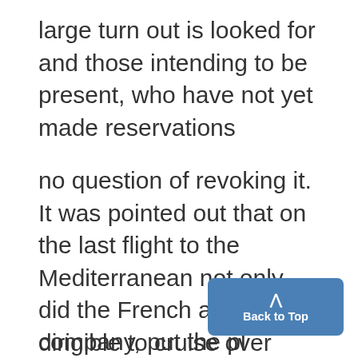large turn out is looked for and those intending to be present, who have not yet made reservations
no question of revoking it. It was pointed out that on the last flight to the Mediterranean not only did the French allow the dirigible to cruise over their country but provided an honorary escort of French planes during part of the trip. o RHEo
company, put the plane throug
[Figure (other): Blue 'Back to Top' button with upward chevron arrow]